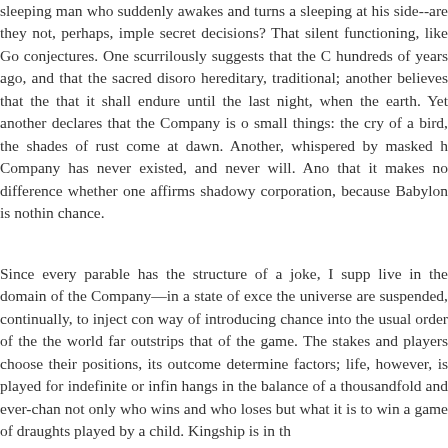sleeping man who suddenly awakes and turns a sleeping at his side--are they not, perhaps, imple secret decisions? That silent functioning, like Go conjectures. One scurrilously suggests that the C hundreds of years ago, and that the sacred disoro hereditary, traditional; another believes that the that it shall endure until the last night, when the earth. Yet another declares that the Company is o small things: the cry of a bird, the shades of rust come at dawn. Another, whispered by masked h Company has never existed, and never will. Ano that it makes no difference whether one affirms shadowy corporation, because Babylon is nothin chance.
Since every parable has the structure of a joke, I supp live in the domain of the Company—in a state of exce the universe are suspended, continually, to inject con way of introducing chance into the usual order of the the world far outstrips that of the game. The stakes and players choose their positions, its outcome determine factors; life, however, is played for indefinite or infin hangs in the balance of a thousandfold and ever-chan not only who wins and who loses but what it is to win a game of draughts played by a child. Kingship is in th